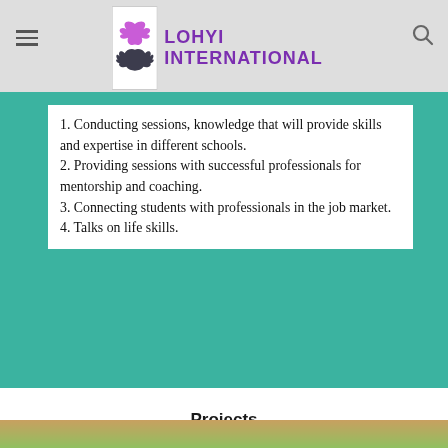LOHYI INTERNATIONAL
1. Conducting sessions, knowledge that will provide skills and expertise in different schools.
2. Providing sessions with successful professionals for mentorship and coaching.
3. Connecting students with professionals in the job market.
4. Talks on life skills.
Projects
LOHYI has previously worked on the following projects, the projects aims is to create a platform where youths interact and get a chance to share their knowledge and experiences and also where they are informed and taught on leadership skills. The following are the projects that LOHYI has been conducting: